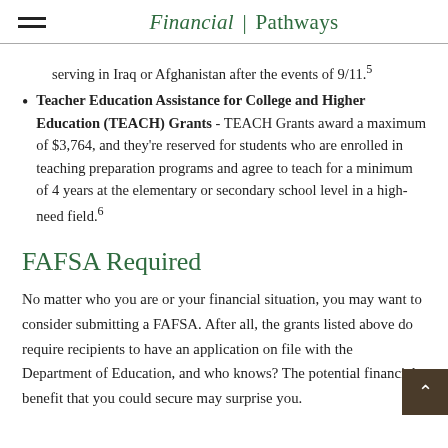Financial | Pathways
serving in Iraq or Afghanistan after the events of 9/11.5
Teacher Education Assistance for College and Higher Education (TEACH) Grants - TEACH Grants award a maximum of $3,764, and they’re reserved for students who are enrolled in teaching preparation programs and agree to teach for a minimum of 4 years at the elementary or secondary school level in a high-need field.6
FAFSA Required
No matter who you are or your financial situation, you may want to consider submitting a FAFSA. After all, the grants listed above do require recipients to have an application on file with the Department of Education, and who knows? The potential financial benefit that you could secure may surprise you.